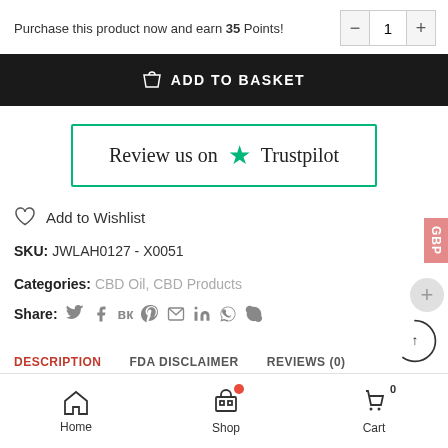Purchase this product now and earn 35 Points!
ADD TO BASKET
[Figure (other): Review us on Trustpilot box with green star]
Add to Wishlist
SKU: JWLAH0127 - X0051
Categories: CBD Oil, CBD Products
Share: (social icons)
DESCRIPTION | FDA DISCLAIMER | REVIEWS (0)
Home  Shop  Cart